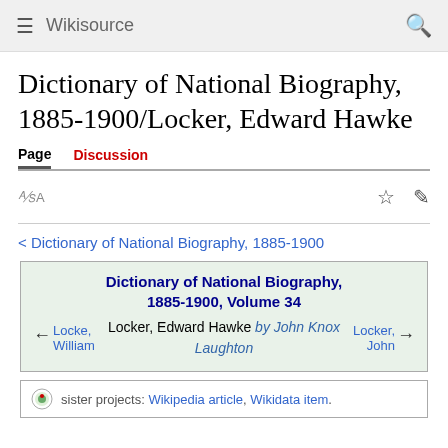Wikisource
Dictionary of National Biography, 1885-1900/Locker, Edward Hawke
Page  Discussion
< Dictionary of National Biography, 1885-1900
| ← Locke, William | Dictionary of National Biography, 1885-1900, Volume 34
Locker, Edward Hawke by John Knox Laughton | Locker, John → |
sister projects: Wikipedia article, Wikidata item.